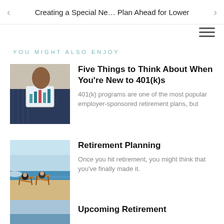Creating a Special Ne… Plan Ahead for Lower
YOU MIGHT ALSO ENJOY
[Figure (photo): Person sitting and holding a tablet showing charts and graphs]
Five Things to Think About When You're New to 401(k)s
401(k) programs are one of the most popular employer-sponsored retirement plans, but
[Figure (photo): Two people sitting in beach chairs by the ocean]
Retirement Planning
Once you hit retirement, you might think that you've finally made it.
[Figure (photo): Partial photo — third article thumbnail, cut off]
Upcoming Retirement